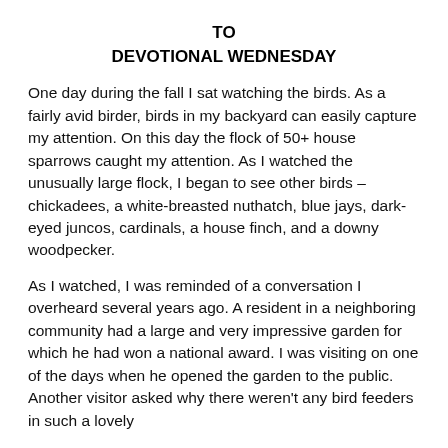TO
DEVOTIONAL WEDNESDAY
One day during the fall I sat watching the birds. As a fairly avid birder, birds in my backyard can easily capture my attention. On this day the flock of 50+ house sparrows caught my attention. As I watched the unusually large flock, I began to see other birds – chickadees, a white-breasted nuthatch, blue jays, dark-eyed juncos, cardinals, a house finch, and a downy woodpecker.
As I watched, I was reminded of a conversation I overheard several years ago. A resident in a neighboring community had a large and very impressive garden for which he had won a national award. I was visiting on one of the days when he opened the garden to the public. Another visitor asked why there weren't any bird feeders in such a lovely